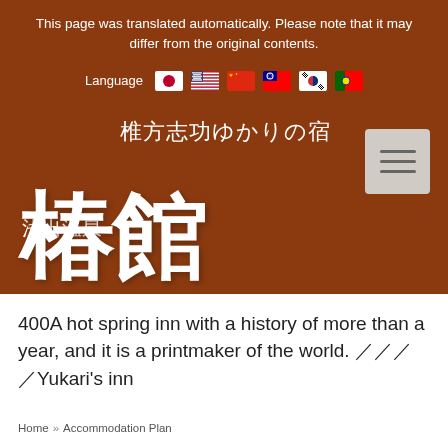This page was translated automatically. Please note that it may differ from the original contents.
Language
[Figure (logo): Japanese inn logo with large calligraphic kanji characters on brown background reading Asade Onsen Tsubaki-kan with subtitle text]
400A hot spring inn with a history of more than a year, and it is a printmaker of the world. ／／／／Yukari's inn
Home » Accommodation Plan